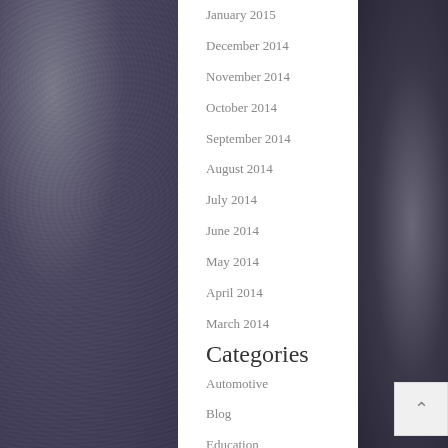January 2015
December 2014
November 2014
October 2014
September 2014
August 2014
July 2014
June 2014
May 2014
April 2014
March 2014
Categories
Automotive
Blog
Education
Gray
Own